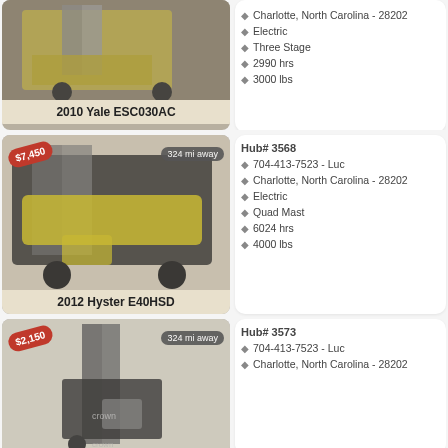[Figure (photo): Forklift image - 2010 Yale ESC030AC, yellow forklift in warehouse]
2010 Yale ESC030AC
Charlotte, North Carolina - 28202
Electric
Three Stage
2990 hrs
3000 lbs
[Figure (photo): Forklift image - 2012 Hyster E40HSD, yellow/black electric forklift. Price: $7,450. 324 mi away.]
2012 Hyster E40HSD
Hub# 3568
704-413-7523 - Luc
Charlotte, North Carolina - 28202
Electric
Quad Mast
6024 hrs
4000 lbs
[Figure (photo): Forklift image - Crown forklift. Price: $2,150. 324 mi away.]
Hub# 3573
704-413-7523 - Luc
Charlotte, North Carolina - 28202